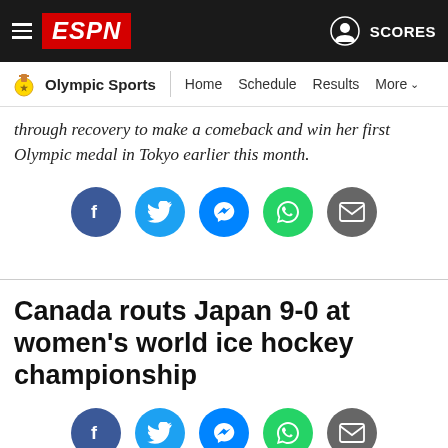ESPN | Olympic Sports | Home | Schedule | Results | More
through recovery to make a comeback and win her first Olympic medal in Tokyo earlier this month.
[Figure (infographic): Social share buttons: Facebook, Twitter, Messenger, WhatsApp, Email]
Canada routs Japan 9-0 at women's world ice hockey championship
[Figure (infographic): Social share buttons: Facebook, Twitter, Messenger, WhatsApp, Email]
Associated Press
8:21 PM UTC